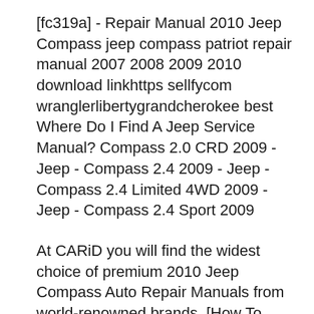[fc319a] - Repair Manual 2010 Jeep Compass jeep compass patriot repair manual 2007 2008 2009 2010 download linkhttps sellfycom wranglerlibertygrandcherokee best Where Do I Find A Jeep Service Manual? Compass 2.0 CRD 2009 - Jeep - Compass 2.4 2009 - Jeep - Compass 2.4 Limited 4WD 2009 - Jeep - Compass 2.4 Sport 2009
At CARiD you will find the widest choice of premium 2010 Jeep Compass Auto Repair Manuals from world-renowned brands. [How To Replace A 2010 Jeep Compass Blower Motor] - Howto Replace The Mtc Blower Motor Resistor